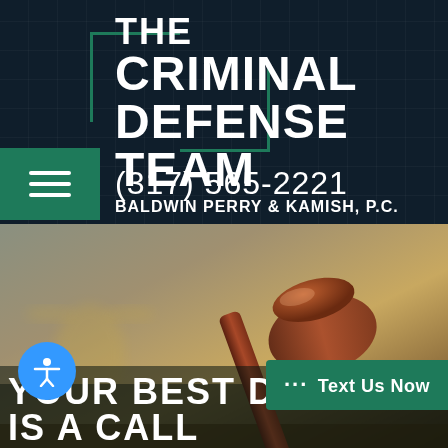[Figure (logo): The Criminal Defense Team logo with teal bracket decoration on dark navy background]
THE CRIMINAL DEFENSE TEAM
BALDWIN PERRY & KAMISH, P.C.
(317) 565-2221
[Figure (photo): Close-up photo of a judge's gavel on a desk with blurred background showing scales of justice]
YOUR BEST DEFENSE IS A CALL